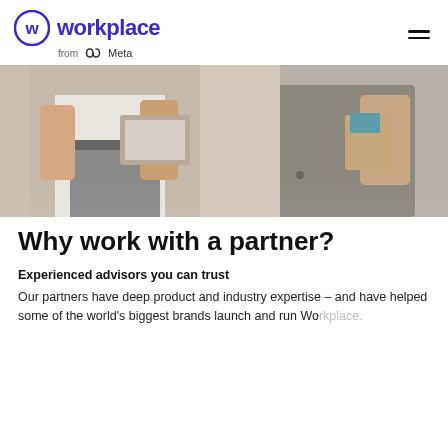workplace from Meta
[Figure (photo): Two people holding tablets/books, shown from waist up, business attire]
Why work with a partner?
Experienced advisors you can trust
Our partners have deep product and industry expertise – and have helped some of the world's biggest brands launch and run Workplace.